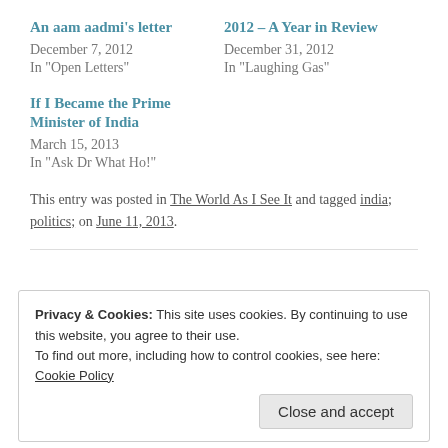An aam aadmi's letter
December 7, 2012
In "Open Letters"
2012 – A Year in Review
December 31, 2012
In "Laughing Gas"
If I Became the Prime Minister of India
March 15, 2013
In "Ask Dr What Ho!"
This entry was posted in The World As I See It and tagged india; politics; on June 11, 2013.
Privacy & Cookies: This site uses cookies. By continuing to use this website, you agree to their use.
To find out more, including how to control cookies, see here: Cookie Policy